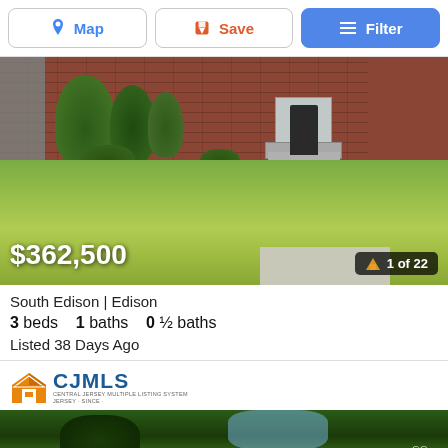Map | Save | Filter
[Figure (photo): Exterior photo of a brick house with green lawn, shrubs, trees, and metal stair railing. Price overlay: $362,500. Photo counter: 1 of 22.]
South Edison | Edison
3 beds   1 baths   0 ½ baths
Listed 38 Days Ago
[Figure (logo): CJMLS logo — house icon with CJMLS text and tagline]
[Figure (photo): Bottom partial view of a property photo showing tree canopy and foliage with a heart/favorite button.]